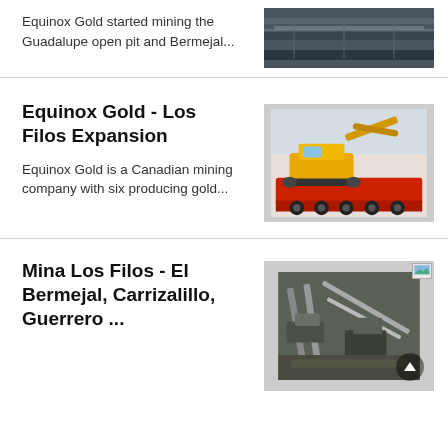Equinox Gold started mining the Guadalupe open pit and Bermejal...
Equinox Gold - Los Filos Expansion
Equinox Gold is a Canadian mining company with six producing gold...
Mina Los Filos - El Bermejal, Carrizalillo, Guerrero ...